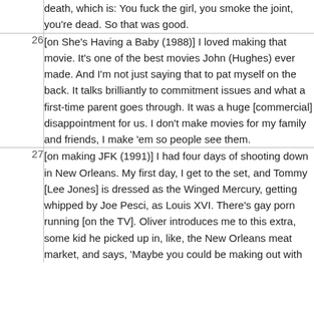| # | Quote |
| --- | --- |
|  | death, which is: You fuck the girl, you smoke the joint, you're dead. So that was good. |
| 26 | [on She's Having a Baby (1988)] I loved making that movie. It's one of the best movies John (Hughes) ever made. And I'm not just saying that to pat myself on the back. It talks brilliantly to commitment issues and what a first-time parent goes through. It was a huge [commercial] disappointment for us. I don't make movies for my family and friends, I make 'em so people see them. |
| 27 | [on making JFK (1991)] I had four days of shooting down in New Orleans. My first day, I get to the set, and Tommy [Lee Jones] is dressed as the Winged Mercury, getting whipped by Joe Pesci, as Louis XVI. There's gay porn running [on the TV]. Oliver introduces me to this extra, some kid he picked up in, like, the New Orleans meat market, and says, 'Maybe you could be making out with |